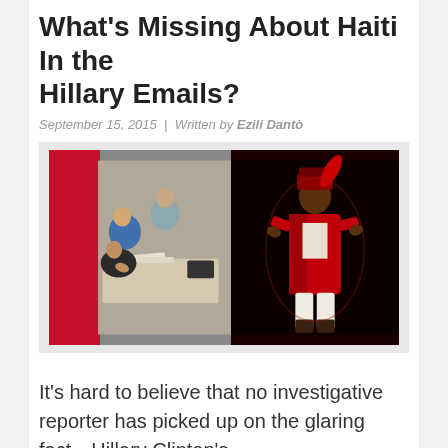What's Missing About Haiti In the Hillary Emails?
September 15, 2015 | Written by Ezili Dantò
[Figure (photo): Left side: photo of men in a meeting/office setting, with red panel on left. Right side: artistic image of a historical figure in red uniform on dark background.]
It's hard to believe that no investigative reporter has picked up on the glaring fact…Hillary Clinton's
Join Our Newsletter
Signup today for free and be the first to get notified on new updates.
Enter your Email